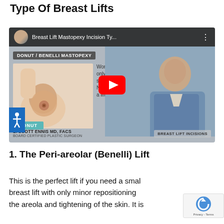Type Of Breast Lifts
[Figure (screenshot): YouTube video thumbnail showing 'Breast Lift Mastopexy Incision Ty...' by L. Scott Ennis MD FACS, Board Certified Plastic Surgeon. Shows a donut/Benelli mastopexy diagram and a doctor speaking. Text includes 'DONUT / BENELLI MASTOPEXY', 'Works best when only reducing size of the areola. Not good for a lift.', 'DONUT', 'BREAST LIFT INCISIONS'.]
1. The Peri-areolar (Benelli) Lift
This is the perfect lift if you need a small breast lift with only minor repositioning of the areola and tightening of the skin. It is